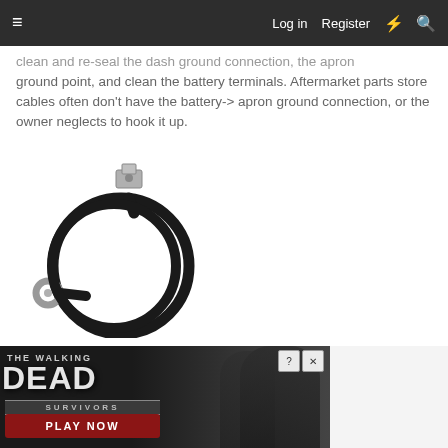≡   Log in   Register   ⚡   🔍
clean and re-seal the dash ground connection, the apron ground point, and clean the battery terminals. Aftermarket parts store cables often don't have the battery-> apron ground connection, or the owner neglects to hook it up.
[Figure (photo): A black automotive ground cable/strap with metal terminals at both ends, coiled in a circular shape against a white background.]
[Figure (photo): Advertisement banner for 'The Walking Dead: Survivors' mobile game featuring zombie imagery and a red 'PLAY NOW' button.]